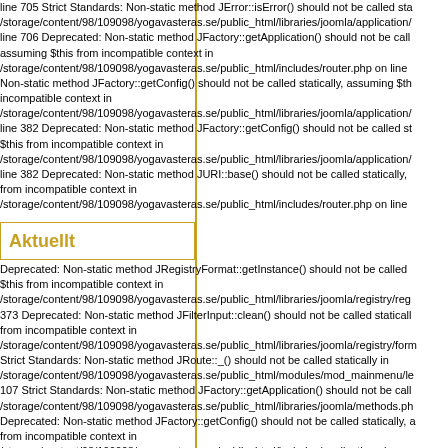line 705 Strict Standards: Non-static method JError::isError() should not be called sta /storage/content/98/109098/yogavasteras.se/public_html/libraries/joomla/application/ line 706 Deprecated: Non-static method JFactory::getApplication() should not be call assuming $this from incompatible context in /storage/content/98/109098/yogavasteras.se/public_html/includes/router.php on line Non-static method JFactory::getConfig() should not be called statically, assuming $th incompatible context in /storage/content/98/109098/yogavasteras.se/public_html/libraries/joomla/application/ line 382 Deprecated: Non-static method JFactory::getConfig() should not be called st $this from incompatible context in /storage/content/98/109098/yogavasteras.se/public_html/libraries/joomla/application/ line 382 Deprecated: Non-static method JURI::base() should not be called statically, from incompatible context in /storage/content/98/109098/yogavasteras.se/public_html/includes/router.php on line
Aktuellt
Deprecated: Non-static method JRegistryFormat::getInstance() should not be called $this from incompatible context in /storage/content/98/109098/yogavasteras.se/public_html/libraries/joomla/registry/reg 373 Deprecated: Non-static method JFilterInput::clean() should not be called staticall from incompatible context in /storage/content/98/109098/yogavasteras.se/public_html/libraries/joomla/registry/form Strict Standards: Non-static method JRoute::_() should not be called statically in /storage/content/98/109098/yogavasteras.se/public_html/modules/mod_mainmenu/le 107 Strict Standards: Non-static method JFactory::getApplication() should not be call /storage/content/98/109098/yogavasteras.se/public_html/libraries/joomla/methods.ph Deprecated: Non-static method JFactory::getConfig() should not be called statically, a from incompatible context in /storage/content/98/109098/yogavasteras.se/public_html/includes/application.php on Standards: Non-static method JLoader::import() should not be called statically in /storage/content/98/109098/yogavasteras.se/public_html/libraries/loader.php on line Non-static method JRouter::getInstance() should not be called statically, assuming $t incompatible context in